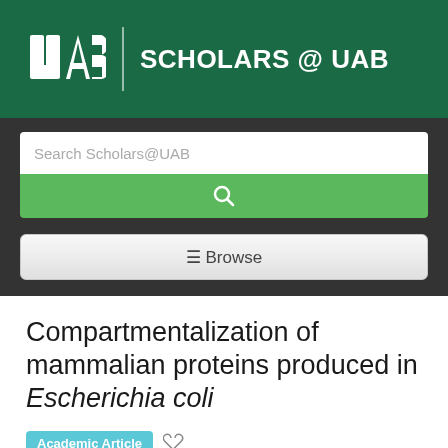[Figure (logo): UAB Scholars @ UAB header banner with green background, UAB logo on left, vertical divider, and 'SCHOLARS @ UAB' text on right]
Search Scholars@UAB
[Figure (other): Green search button with magnifying glass icon]
≡ Browse
Compartmentalization of mammalian proteins produced in Escherichia coli
Academic Article